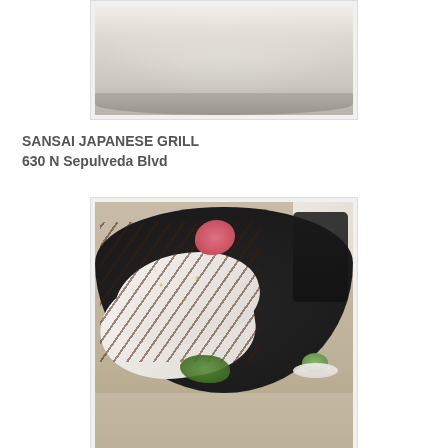[Figure (photo): Close-up photo of a bowl or plate containing a creamy white/beige sauce or soup, partially visible at the top of the page]
SANSAI JAPANESE GRILL
630 N Sepulveda Blvd
[Figure (photo): Photo of sushi rolls topped with brown sauce drizzle on a black oval plate, served with pickled ginger and wasabi, placed on a granite surface]